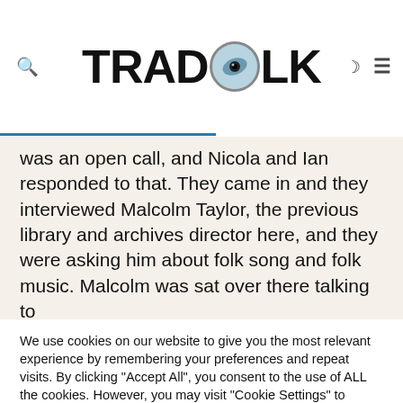TRADFOLK
was an open call, and Nicola and Ian responded to that. They came in and they interviewed Malcolm Taylor, the previous library and archives director here, and they were asking him about folk song and folk music. Malcolm was sat over there talking to
We use cookies on our website to give you the most relevant experience by remembering your preferences and repeat visits. By clicking “Accept All”, you consent to the use of ALL the cookies. However, you may visit "Cookie Settings" to provide a controlled consent.
Cookie Settings   Accept All